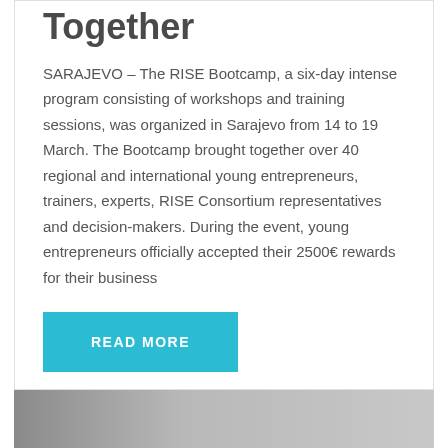Together
SARAJEVO – The RISE Bootcamp, a six-day intense program consisting of workshops and training sessions, was organized in Sarajevo from 14 to 19 March. The Bootcamp brought together over 40 regional and international young entrepreneurs, trainers, experts, RISE Consortium representatives and decision-makers. During the event, young entrepreneurs officially accepted their 2500€ rewards for their business
READ MORE
[Figure (photo): Partial image visible at the bottom of the page, appears to show a person]